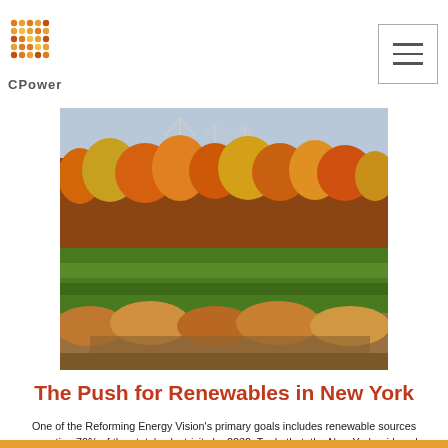CPower
[Figure (photo): Panoramic autumn landscape with orange and yellow deciduous trees, green fields, and wind turbines in the background]
The Push for Renewables in New York
One of the Reforming Energy Vision’s primary goals includes renewable sources generating 70% of the state’s electricity by 2030. To do that, the New York grid seeks to implement distributed energy resources into its fuel mix. How might New York’s energy market be redesigned to incorporate DERs like solar, energy storage, and others? NYISO’s proposed … Continue reading →